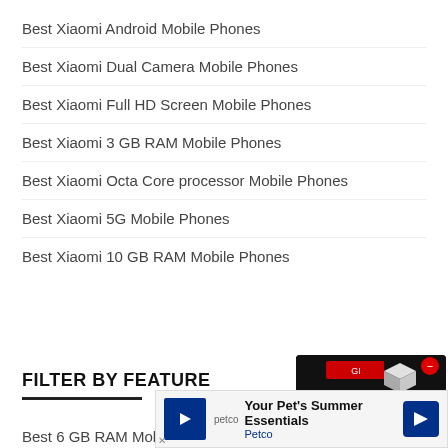Best Xiaomi Android Mobile Phones
Best Xiaomi Dual Camera Mobile Phones
Best Xiaomi Full HD Screen Mobile Phones
Best Xiaomi 3 GB RAM Mobile Phones
Best Xiaomi Octa Core processor Mobile Phones
Best Xiaomi 5G Mobile Phones
Best Xiaomi 10 GB RAM Mobile Phones
FILTER BY FEATURE
Best 6 GB RAM Mobile Phones Under 20000
Best 5G
[Figure (screenshot): Product ad overlay showing a gaming laptop with price ₹1,33,689.99 and a red minus button with 3D box icon]
[Figure (screenshot): Petco ad banner: Your Pet's Summer Essentials]